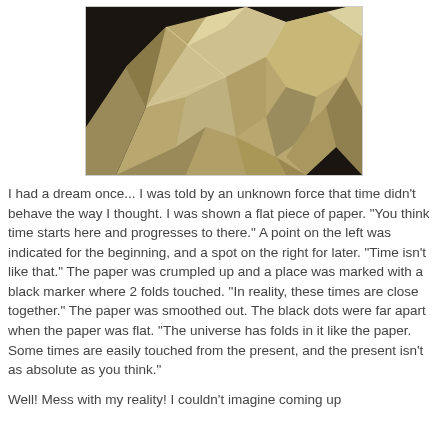[Figure (photo): A close-up photograph of crumpled tan/beige paper against a dark background, showing multiple folds and creases.]
I had a dream once...  I was told by an unknown force that time didn't behave the way I thought.  I was shown a flat piece of paper.  "You think time starts here and progresses to there."  A point on the left was indicated for the beginning, and a spot on the right for later.  "Time isn't like that."  The paper was crumpled up and a place was marked with a black marker where 2 folds touched.  "In reality, these times are close together."  The paper was smoothed out.  The black dots were far apart when the paper was flat.  "The universe has folds in it like the paper.  Some times are easily touched from the present, and the present isn't as absolute as you think."
Well!  Mess with my reality!  I couldn't imagine coming up